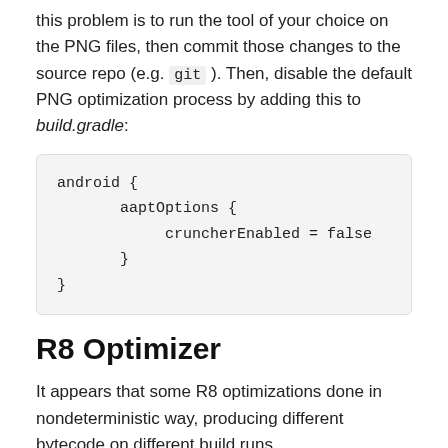this problem is to run the tool of your choice on the PNG files, then commit those changes to the source repo (e.g. git ). Then, disable the default PNG optimization process by adding this to build.gradle:
[Figure (screenshot): Code block showing android { aaptOptions { cruncherEnabled = false } }]
R8 Optimizer
It appears that some R8 optimizations done in nondeterministic way, producing different bytecode on different build runs.
For instance, R8 tries to optimize ServiceLoader usage making a static list of all services in the code. The order of